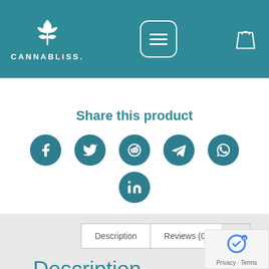[Figure (logo): Cannabliss logo with cannabis leaf icon and text CANNABLISS in white on teal header]
Share this product
[Figure (infographic): Social media share icons: Facebook, Twitter, Reddit, Telegram, WhatsApp, LinkedIn — teal circular buttons]
Description
FOUR FIVE CBD 600mg CAPSULES